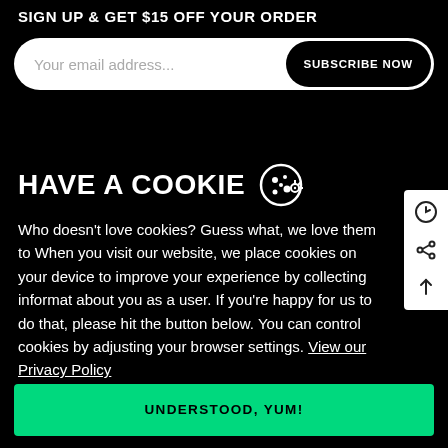SIGN UP & GET $15 OFF YOUR ORDER
[Figure (screenshot): Email subscription input field with placeholder 'Your email address...' and a black 'SUBSCRIBE NOW' button on the right, all inside a white rounded pill-shaped container]
HAVE A COOKIE
Who doesn't love cookies? Guess what, we love them too. When you visit our website, we place cookies on your device to improve your experience by collecting information about you as a user. If you're happy for us to do that, please hit the button below. You can control cookies by adjusting your browser settings. View our Privacy Policy
UNDERSTOOD, YUM!